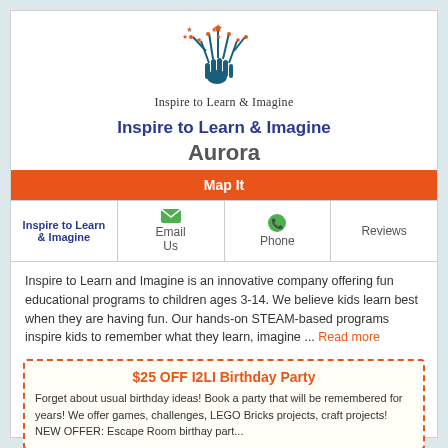[Figure (logo): Inspire to Learn & Imagine logo: two blue hands reaching up with red star-shaped flowers/sparks above them, forming a tree shape]
Inspire to Learn & Imagine
Inspire to Learn & Imagine
Aurora
Map It
| Inspire to Learn & Imagine | Email Us | Phone | Reviews |
| --- | --- | --- | --- |
Inspire to Learn and Imagine is an innovative company offering fun educational programs to children ages 3-14. We believe kids learn best when they are having fun. Our hands-on STEAM-based programs inspire kids to remember what they learn, imagine ... Read more
$25 OFF I2LI Birthday Party
Forget about usual birthday ideas! Book a party that will be remembered for years! We offer games, challenges, LEGO Bricks projects, craft projects! NEW OFFER: Escape Room birthay part...